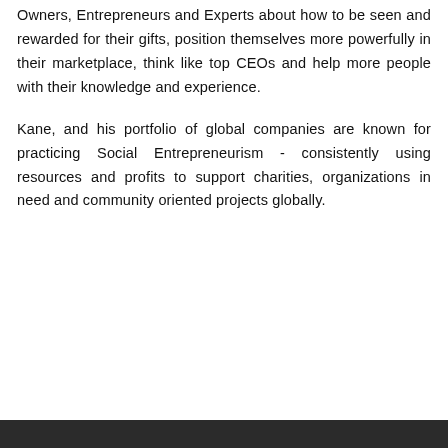Owners, Entrepreneurs and Experts about how to be seen and rewarded for their gifts, position themselves more powerfully in their marketplace, think like top CEOs and help more people with their knowledge and experience.
Kane, and his portfolio of global companies are known for practicing Social Entrepreneurism - consistently using resources and profits to support charities, organizations in need and community oriented projects globally.